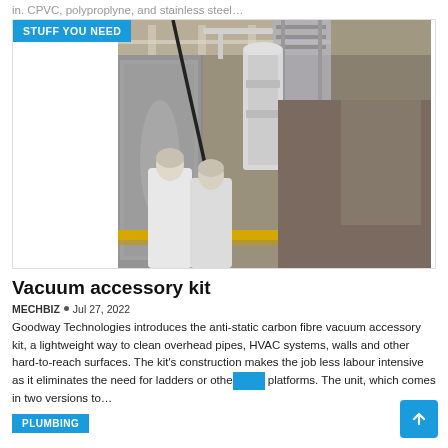in. CPVC, polyproplyne, and stainless steel…
[Figure (photo): Industrial facility interior showing workers in white lab coats/protective gear standing near large metal equipment/machinery. A long pole is visible extending diagonally. Yellow safety barriers are visible at floor level. Text badge 'STUFF YOU NEED' in blue at top left.]
Vacuum accessory kit
MECHBIZ • Jul 27, 2022
Goodway Technologies introduces the anti-static carbon fibre vacuum accessory kit, a lightweight way to clean overhead pipes, HVAC systems, walls and other hard-to-reach surfaces. The kit's construction makes the job less labour intensive as it eliminates the need for ladders or other platforms. The unit, which comes in two versions to…
PLUMBING